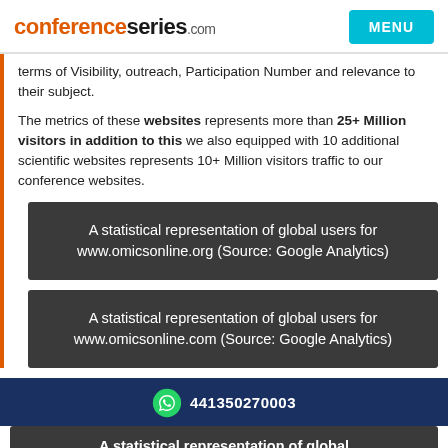conferenceseries.com  MENU
terms of Visibility, outreach, Participation Number and relevance to their subject.
The metrics of these websites represents more than 25+ Million visitors in addition to this we also equipped with 10 additional scientific websites represents 10+ Million visitors traffic to our conference websites.
A statistical representation of global users for www.omicsonline.org (Source: Google Analytics)
A statistical representation of global users for www.omicsonline.com (Source: Google Analytics)
441350270003
A statistical representation of global users for www.omicsonline.